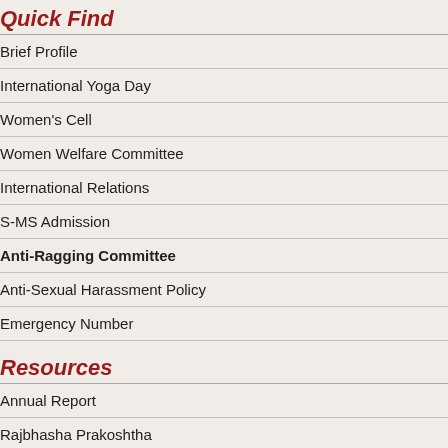Quick Find
Brief Profile
International Yoga Day
Women's Cell
Women Welfare Committee
International Relations
S-MS Admission
Anti-Ragging Committee
Anti-Sexual Harassment Policy
Emergency Number
Resources
Annual Report
Rajbhasha Prakoshtha
Placement
Sitemap